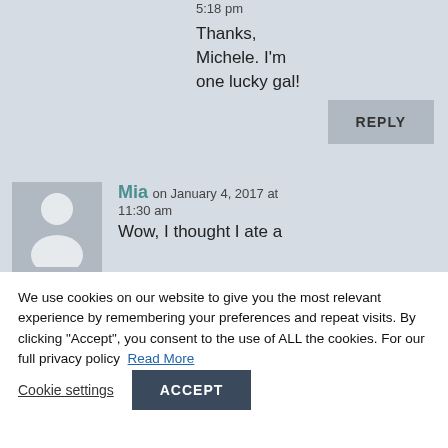5:18 pm
Thanks, Michele. I'm one lucky gal!
REPLY
Mia on January 4, 2017 at 11:30 am
Wow, I thought I ate a
We use cookies on our website to give you the most relevant experience by remembering your preferences and repeat visits. By clicking "Accept", you consent to the use of ALL the cookies. For our full privacy policy Read More
Cookie settings
ACCEPT